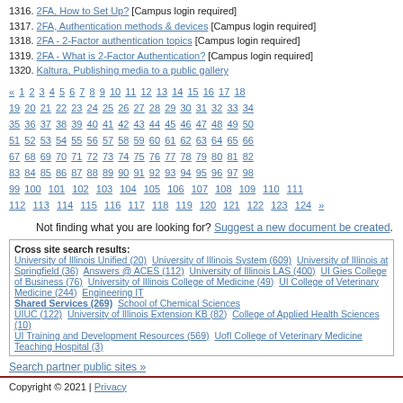1316. 2FA, How to Set Up? [Campus login required]
1317. 2FA, Authentication methods & devices [Campus login required]
1318. 2FA - 2-Factor authentication topics [Campus login required]
1319. 2FA - What is 2-Factor Authentication? [Campus login required]
1320. Kaltura, Publishing media to a public gallery
« 1 2 3 4 5 6 7 8 9 10 11 12 13 14 15 16 17 18 19 20 21 22 23 24 25 26 27 28 29 30 31 32 33 34 35 36 37 38 39 40 41 42 43 44 45 46 47 48 49 50 51 52 53 54 55 56 57 58 59 60 61 62 63 64 65 66 67 68 69 70 71 72 73 74 75 76 77 78 79 80 81 82 83 84 85 86 87 88 89 90 91 92 93 94 95 96 97 98 99 100 101 102 103 104 105 106 107 108 109 110 111 112 113 114 115 116 117 118 119 120 121 122 123 124 »
Not finding what you are looking for? Suggest a new document be created.
Cross site search results: University of Illinois Unified (20) University of Illinois System (609) University of Illinois at Springfield (36) Answers @ ACES (112) University of Illinois LAS (400) UI Gies College of Business (76) University of Illinois College of Medicine (49) UI College of Veterinary Medicine (244) Engineering IT Shared Services (269) School of Chemical Sciences UIUC (122) University of Illinois Extension KB (82) College of Applied Health Sciences (10) UI Training and Development Resources (569) UofI College of Veterinary Medicine Teaching Hospital (3)
Search partner public sites »
Copyright © 2021 | Privacy